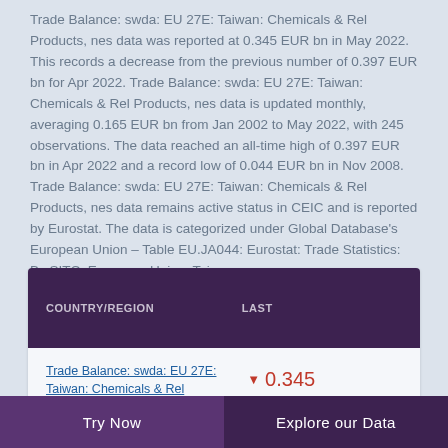Trade Balance: swda: EU 27E: Taiwan: Chemicals & Rel Products, nes data was reported at 0.345 EUR bn in May 2022. This records a decrease from the previous number of 0.397 EUR bn for Apr 2022. Trade Balance: swda: EU 27E: Taiwan: Chemicals & Rel Products, nes data is updated monthly, averaging 0.165 EUR bn from Jan 2002 to May 2022, with 245 observations. The data reached an all-time high of 0.397 EUR bn in Apr 2022 and a record low of 0.044 EUR bn in Nov 2008. Trade Balance: swda: EU 27E: Taiwan: Chemicals & Rel Products, nes data remains active status in CEIC and is reported by Eurostat. The data is categorized under Global Database's European Union – Table EU.JA044: Eurostat: Trade Statistics: By SITC: European Union: Taiwan.
| COUNTRY/REGION | LAST |
| --- | --- |
| Trade Balance: swda: EU 27E: Taiwan: Chemicals & Rel Products, nes (EUR | ▼ 0.345
May 2022 |
Try Now   Explore our Data